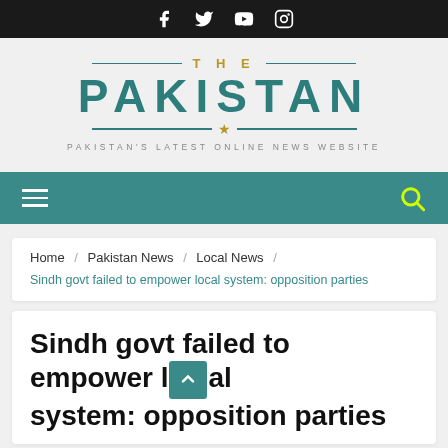Social media icons: Facebook, Twitter, YouTube, Instagram
[Figure (logo): The Pakistan logo — large teal PAKISTAN text with THE above and a gold star, with tagline PAKISTAN'S LATEST ONLINE NEWS WEBSITE]
Navigation bar with hamburger menu and search icon
Home / Pakistan News / Local News /
Sindh govt failed to empower local system: opposition parties
Sindh govt failed to empower local system: opposition parties